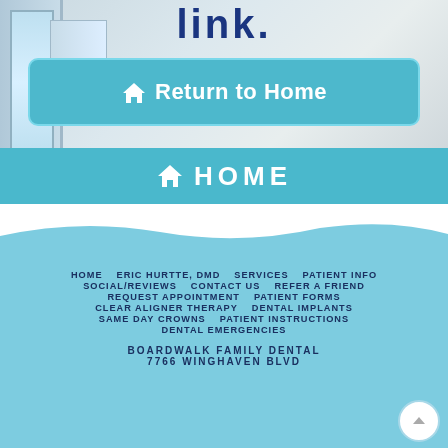link.
[Figure (screenshot): Teal 'Return to Home' button with house icon on a light room background]
[Figure (screenshot): Teal 'HOME' navigation bar with house icon]
[Figure (screenshot): Wave divider transitioning from white to light blue]
HOME   ERIC HURTTE, DMD   SERVICES   PATIENT INFO   SOCIAL/REVIEWS   CONTACT US   REFER A FRIEND   REQUEST APPOINTMENT   PATIENT FORMS   CLEAR ALIGNER THERAPY   DENTAL IMPLANTS   SAME DAY CROWNS   PATIENT INSTRUCTIONS   DENTAL EMERGENCIES   BOARDWALK FAMILY DENTAL   7766 WINGHAVEN BLVD